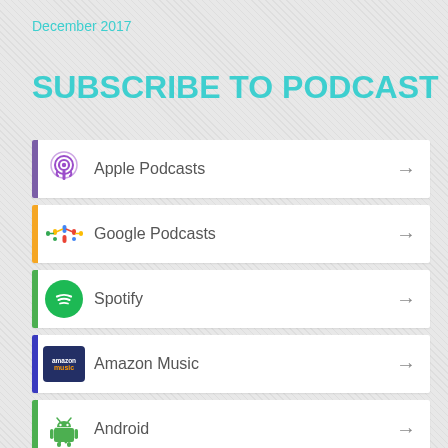December 2017
SUBSCRIBE TO PODCAST
Apple Podcasts
Google Podcasts
Spotify
Amazon Music
Android
Pandora